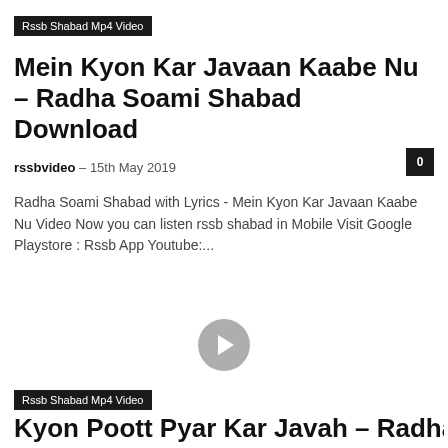Rssb Shabad Mp4 Video
Mein Kyon Kar Javaan Kaabe Nu – Radha Soami Shabad Download
rssbvideo – 15th May 2019
Radha Soami Shabad with Lyrics - Mein Kyon Kar Javaan Kaabe Nu Video Now you can listen rssb shabad in Mobile Visit Google Playstore : Rssb App Youtube:...
[Figure (other): Video player area with play button in center]
Rssb Shabad Mp4 Video
Kyon Poott Pyar Kar Javah – Radha Soami...